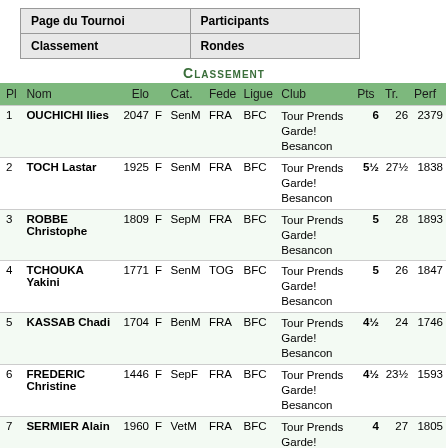| Page du Tournoi | Participants |
| --- | --- |
| Classement | Rondes |
Classement
| Pl | Nom | Elo |  | Cat. | Fede | Ligue | Club | Pts | Tr. | Perf |
| --- | --- | --- | --- | --- | --- | --- | --- | --- | --- | --- |
| 1 | OUCHICHI Ilies | 2047 | F | SenM | FRA | BFC | Tour Prends Garde! Besancon | 6 | 26 | 2379 |
| 2 | TOCH Lastar | 1925 | F | SenM | FRA | BFC | Tour Prends Garde! Besancon | 5½ | 27½ | 1838 |
| 3 | ROBBE Christophe | 1809 | F | SepM | FRA | BFC | Tour Prends Garde! Besancon | 5 | 28 | 1893 |
| 4 | TCHOUKA Yakini | 1771 | F | SenM | TOG | BFC | Tour Prends Garde! Besancon | 5 | 26 | 1847 |
| 5 | KASSAB Chadi | 1704 | F | BenM | FRA | BFC | Tour Prends Garde! Besancon | 4½ | 24 | 1746 |
| 6 | FREDERIC Christine | 1446 | F | SepF | FRA | BFC | Tour Prends Garde! Besancon | 4½ | 23½ | 1593 |
| 7 | SERMIER Alain | 1960 | F | VetM | FRA | BFC | Tour Prends Garde! Besancon | 4 | 27 | 1805 |
| 8 | ROGER Goma-Rayan | 1609 | F | CadM | FRA | BFC | Tour Prends Garde! Besancon | 4 | 26½ | 1679 |
| 9 | PETETIN Ednan | 1512 | F | SenM | FRA | BFC | Tour Prends Garde! Besancon | 4 | 26 | 1718 |